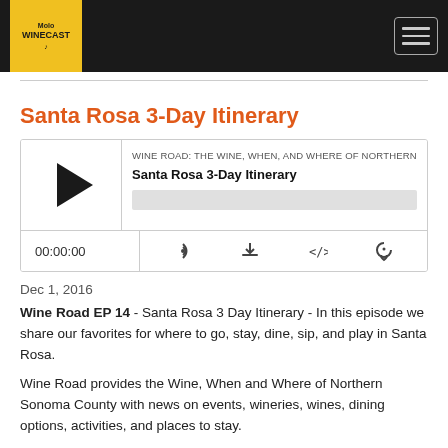WineCast navigation bar with logo and hamburger menu
Santa Rosa 3-Day Itinerary
[Figure (other): Podcast player widget showing episode 'Santa Rosa 3-Day Itinerary' from 'WINE ROAD: THE WINE, WHEN, AND WHERE OF NORTHERN SON' with play button, progress bar, time display 00:00:00, and control icons for RSS, download, embed, and share]
Dec 1, 2016
Wine Road EP 14 - Santa Rosa 3 Day Itinerary - In this episode we share our favorites for where to go, stay, dine, sip, and play in Santa Rosa.
Wine Road provides the Wine, When and Where of Northern Sonoma County with news on events, wineries, wines, dining options, activities, and places to stay.
Show Notes: